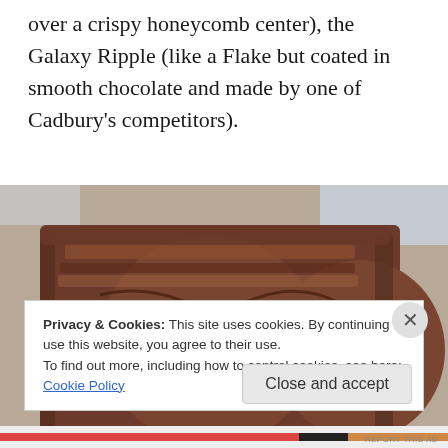over a crispy honeycomb center), the Galaxy Ripple (like a Flake but coated in smooth chocolate and made by one of Cadbury's competitors).
[Figure (photo): Close-up cross-section photo of two Cadbury Flake chocolate bars showing the layered, crumbly, flaky interior texture.]
Privacy & Cookies: This site uses cookies. By continuing to use this website, you agree to their use.
To find out more, including how to control cookies, see here: Cookie Policy